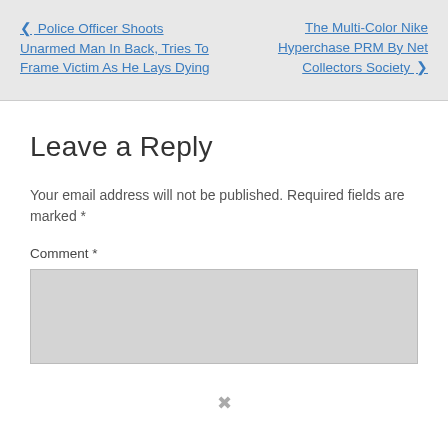❮ Police Officer Shoots Unarmed Man In Back, Tries To Frame Victim As He Lays Dying
The Multi-Color Nike Hyperchase PRM By Net Collectors Society ❯
Leave a Reply
Your email address will not be published. Required fields are marked *
Comment *